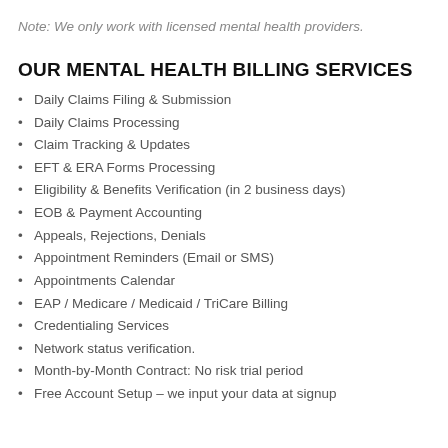Note: We only work with licensed mental health providers.
OUR MENTAL HEALTH BILLING SERVICES
Daily Claims Filing & Submission
Daily Claims Processing
Claim Tracking & Updates
EFT & ERA Forms Processing
Eligibility & Benefits Verification (in 2 business days)
EOB & Payment Accounting
Appeals, Rejections, Denials
Appointment Reminders (Email or SMS)
Appointments Calendar
EAP / Medicare / Medicaid / TriCare Billing
Credentialing Services
Network status verification.
Month-by-Month Contract: No risk trial period
Free Account Setup – we input your data at signup